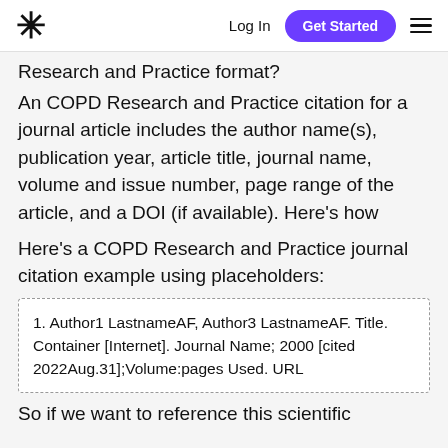* Log In  Get Started ☰
Research and Practice format?
An COPD Research and Practice citation for a journal article includes the author name(s), publication year, article title, journal name, volume and issue number, page range of the article, and a DOI (if available). Here's how
Here's a COPD Research and Practice journal citation example using placeholders:
1. Author1 LastnameAF, Author3 LastnameAF. Title. Container [Internet]. Journal Name; 2000 [cited 2022Aug.31];Volume:pages Used. URL
So if we want to reference this scientific